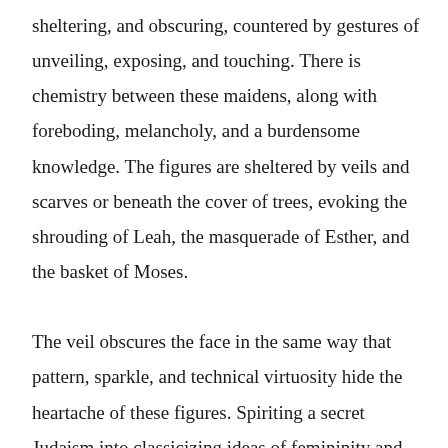sheltering, and obscuring, countered by gestures of unveiling, exposing, and touching. There is chemistry between these maidens, along with foreboding, melancholy, and a burdensome knowledge. The figures are sheltered by veils and scarves or beneath the cover of trees, evoking the shrouding of Leah, the masquerade of Esther, and the basket of Moses.

The veil obscures the face in the same way that pattern, sparkle, and technical virtuosity hide the heartache of these figures. Spiriting a secret Judaism into classicizing ideas of femininity and narrative, Lupton Reinhard creates paintings that are aggressively themselves: shiny,